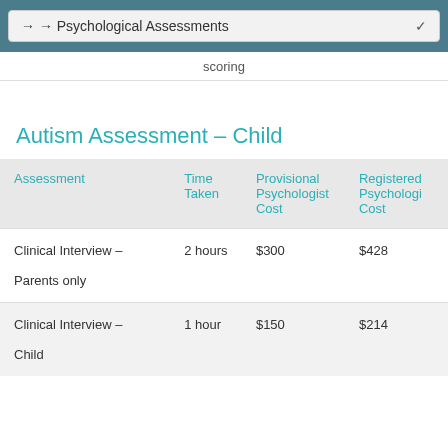→ → Psychological Assessments
scoring
Autism Assessment – Child
| Assessment | Time Taken | Provisional Psychologist Cost | Registered Psychologist Cost |
| --- | --- | --- | --- |
| Clinical Interview – Parents only | 2 hours | $300 | $428 |
| Clinical Interview – Child | 1 hour | $150 | $214 |